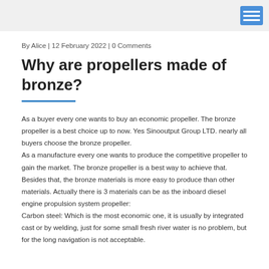By Alice | 12 February 2022 | 0 Comments
Why are propellers made of bronze?
As a buyer every one wants to buy an economic propeller. The bronze propeller is a best choice up to now. Yes Sinooutput Group LTD. nearly all buyers choose the bronze propeller.
As a manufacture every one wants to produce the competitive propeller to gain the market. The bronze propeller is a best way to achieve that.
Besides that, the bronze materials is more easy to produce than other materials. Actually there is 3 materials can be as the inboard diesel engine propulsion system propeller:
Carbon steel: Which is the most economic one, it is usually by integrated cast or by welding, just for some small fresh river water is no problem, but for the long navigation is not acceptable.